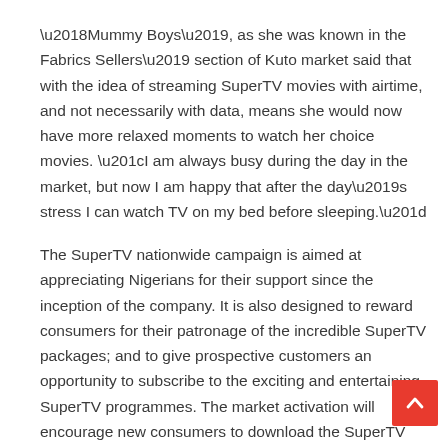'Mummy Boys', as she was known in the Fabrics Sellers' section of Kuto market said that with the idea of streaming SuperTV movies with airtime, and not necessarily with data, means she would now have more relaxed moments to watch her choice movies. “I am always busy during the day in the market, but now I am happy that after the day’s stress I can watch TV on my bed before sleeping.”
The SuperTV nationwide campaign is aimed at appreciating Nigerians for their support since the inception of the company. It is also designed to reward consumers for their patronage of the incredible SuperTV packages; and to give prospective customers an opportunity to subscribe to the exciting and entertaining SuperTV programmes. The market activation will encourage new consumers to download the SuperTV app and will also give consumers...